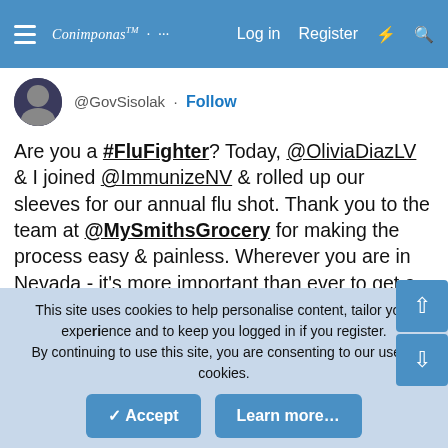Log in  Register
@GovSisolak · Follow
Are you a #FluFighter? Today, @OliviaDiazLV & I joined @ImmunizeNV & rolled up our sleeves for our annual flu shot. Thank you to the team at @MySmithsGrocery for making the process easy & painless. Wherever you are in Nevada - it's more important than ever to get a flu vaccine.
[Figure (photo): Two people wearing masks in a grocery store pharmacy, one receiving a flu shot. A 'Watch on Twitter' button overlay is present.]
This site uses cookies to help personalise content, tailor your experience and to keep you logged in if you register.
By continuing to use this site, you are consenting to our use of cookies.
✓ Accept   Learn more…